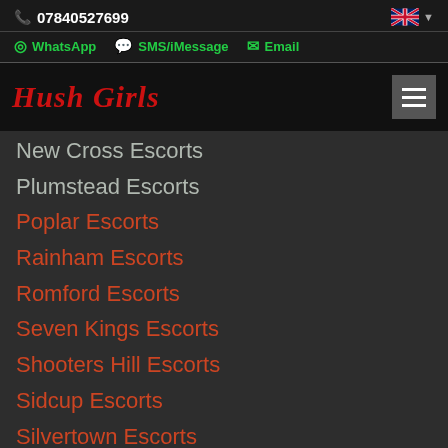07840527699
WhatsApp  SMS/iMessage  Email
Hush Girls
New Cross Escorts
Plumstead Escorts
Poplar Escorts
Rainham Escorts
Romford Escorts
Seven Kings Escorts
Shooters Hill Escorts
Sidcup Escorts
Silvertown Escorts
Stepney Escorts
Stoke Newington Escorts